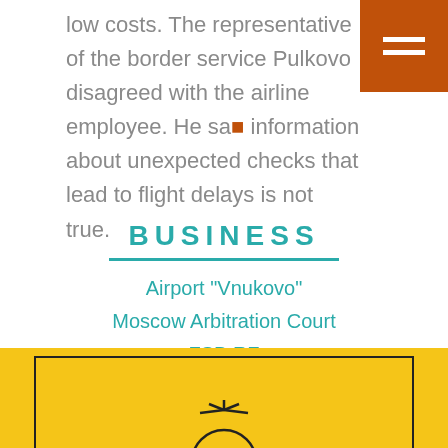low costs. The representative of the border service Pulkovo disagreed with the airline employee. He said information about unexpected checks that lead to flight delays is not true.
BUSINESS
Airport "Vnukovo"
Moscow Arbitration Court
FSB RF
Airline "Victory"
[Figure (illustration): Yellow box with a sun illustration (light bulb / sun with rays) centered at the bottom of the yellow area, with a dark rectangular border around the inner region.]